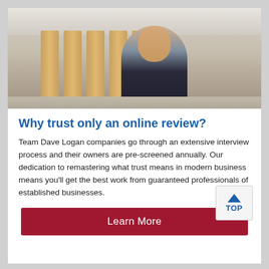[Figure (photo): A smiling middle-aged man in a dark jacket standing in a bright office with wooden panel columns and drop ceiling behind him.]
Why trust only an online review?
Team Dave Logan companies go through an extensive interview process and their owners are pre-screened annually. Our dedication to remastering what trust means in modern business means you'll get the best work from guaranteed professionals of established businesses.
Learn More